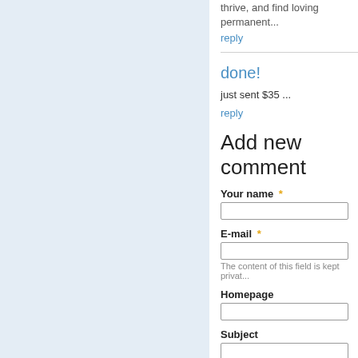thrive, and find loving permanent...
reply
done!
just sent $35 ...
reply
Add new comment
Your name *
E-mail *
The content of this field is kept privat...
Homepage
Subject